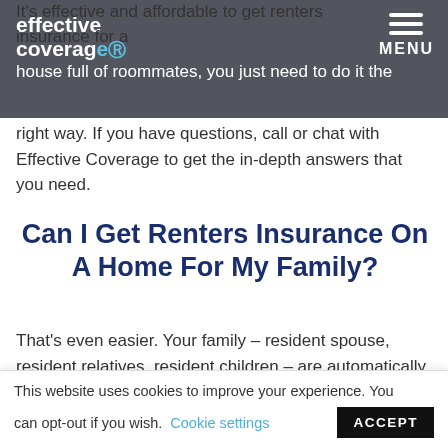Effective Coverage [logo with menu]
It's effective and affordable to get renters insurance for a house full of roommates, you just need to do it the right way. If you have questions, call or chat with Effective Coverage to get the in-depth answers that you need.
Can I Get Renters Insurance On A Home For My Family?
That's even easier. Your family – resident spouse, resident relatives, resident children – are automatically covered under your renters insurance policy. One policy is usually sufficient, and coverage is
This website uses cookies to improve your experience. You can opt-out if you wish. Cookie settings ACCEPT